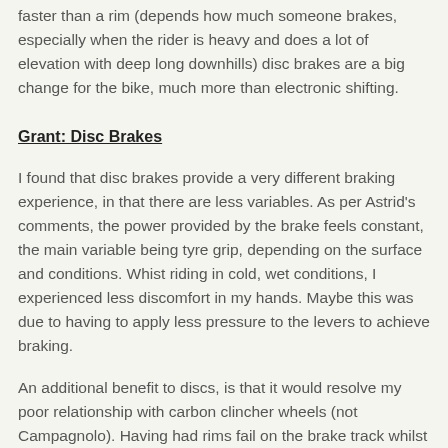faster than a rim (depends how much someone brakes, especially when the rider is heavy and does a lot of elevation with deep long downhills) disc brakes are a big change for the bike, much more than electronic shifting.
Grant: Disc Brakes
I found that disc brakes provide a very different braking experience, in that there are less variables. As per Astrid's comments, the power provided by the brake feels constant, the main variable being tyre grip, depending on the surface and conditions. Whist riding in cold, wet conditions, I experienced less discomfort in my hands. Maybe this was due to having to apply less pressure to the levers to achieve braking.
An additional benefit to discs, is that it would resolve my poor relationship with carbon clincher wheels (not Campagnolo). Having had rims fail on the brake track whilst descending, I moved to wheels incorporating